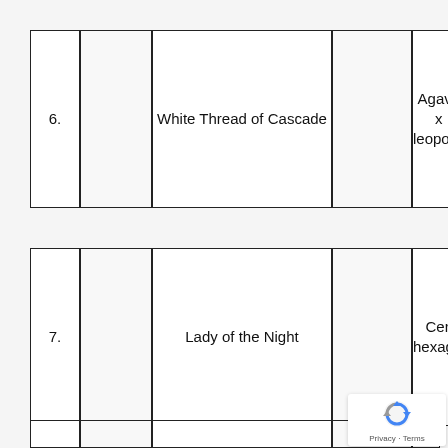| # | Image | Common Name | Image | Scientific Name |
| --- | --- | --- | --- | --- |
| 6. |  | White Thread of Cascade |  | Agave x leopoldi |
| 7. |  | Lady of the Night |  | Cereus hexagonus |